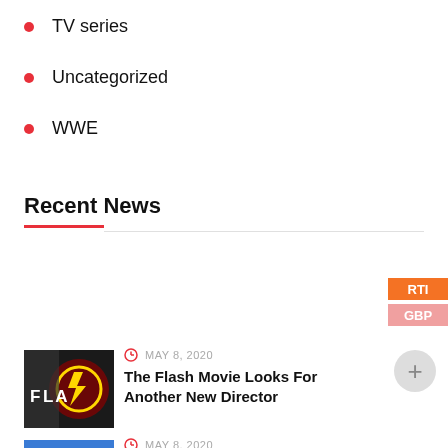TV series
Uncategorized
WWE
Recent News
[Figure (photo): Thumbnail image for The Flash Movie article showing The Flash logo and a person]
MAY 8, 2020
The Flash Movie Looks For Another New Director
[Figure (photo): Thumbnail image for Don Heck – A Tribute article showing comic book artwork]
MAY 8, 2020
Don Heck – A Tribute